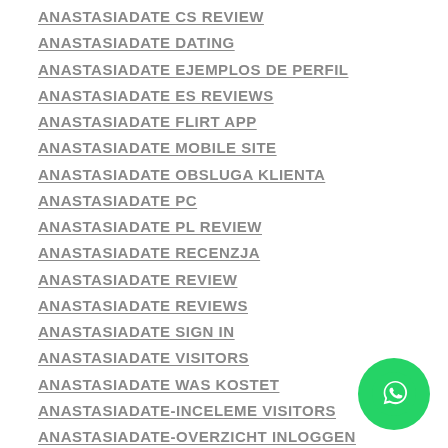ANASTASIADATE CS REVIEW
ANASTASIADATE DATING
ANASTASIADATE EJEMPLOS DE PERFIL
ANASTASIADATE ES REVIEWS
ANASTASIADATE FLIRT APP
ANASTASIADATE MOBILE SITE
ANASTASIADATE OBSLUGA KLIENTA
ANASTASIADATE PC
ANASTASIADATE PL REVIEW
ANASTASIADATE RECENZJA
ANASTASIADATE REVIEW
ANASTASIADATE REVIEWS
ANASTASIADATE SIGN IN
ANASTASIADATE VISITORS
ANASTASIADATE WAS KOSTET
ANASTASIADATE-INCELEME VISITORS
ANASTASIADATE-OVERZICHT INLOGGEN
ANCHORAGE ESCORT
ANCHORAGE ESCORT INDEX
ANCHORAGE ESCORT SERVICE COMPANIES
ANCHORAGE THE ESCORT
ANCHORAGE+AK+ALASKA BROWSE AROUND THIS WEB-
[Figure (logo): WhatsApp contact button (green circle with phone handset icon)]